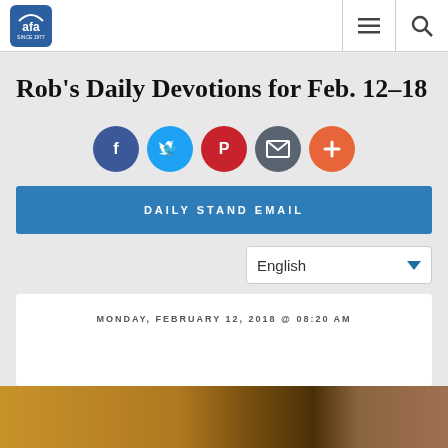AFA logo — navigation bar with hamburger menu and search icon
Rob's Daily Devotions for Feb. 12–18
[Figure (infographic): Row of five social sharing circle icons: Facebook (blue), Twitter (light blue), Parler (red), Email (gray), Plus/More (orange-red)]
DAILY STAND EMAIL
English
MONDAY, FEBRUARY 12, 2018 @ 08:20 AM
[Figure (photo): Partial photo at bottom of page showing warm golden-brown tones]